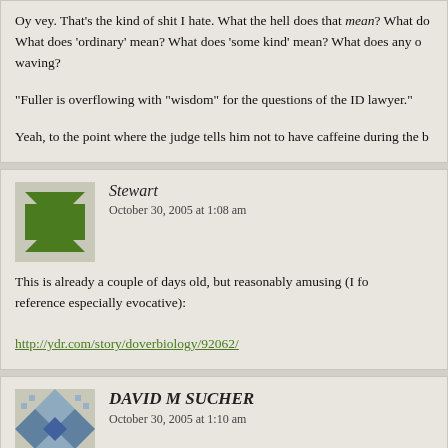Oy vey. That's the kind of shit I hate. What the hell does that mean? What do What does 'ordinary' mean? What does 'some kind' mean? What does any of waving?
“Fuller is overflowing with “wisdom” for the questions of the ID lawyer.”
Yeah, to the point where the judge tells him not to have caffeine during the b
Stewart
October 30, 2005 at 1:08 am
This is already a couple of days old, but reasonably amusing (I fo reference especially evocative):
http://ydr.com/story/doverbiology/92062/
DAVID M SUCHER
October 30, 2005 at 1:10 am
Btw, Ophelia, this is slightly — but only slightly off-topic since you many things — but as to “woo-woo” things, where do you place acupuncture